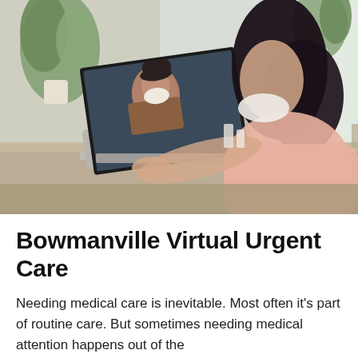[Figure (photo): A woman wearing a face mask sits at a desk in a bright room, using a laptop for a video call. The laptop screen shows a person (doctor/patient) also wearing a mask. There are plants and a window in the background.]
Bowmanville Virtual Urgent Care
Needing medical care is inevitable. Most often it's part of routine care. But sometimes needing medical attention happens out of the